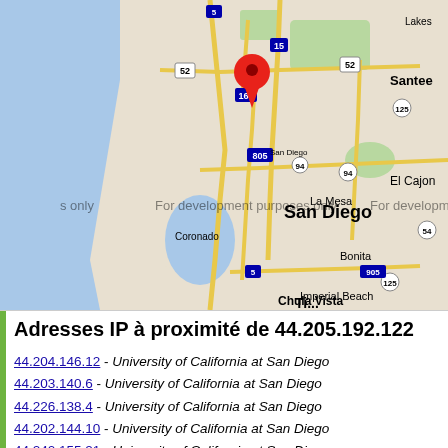[Figure (map): Google Maps screenshot showing San Diego area with a red location pin marker placed near the center-north of San Diego. Map shows surrounding areas including Santee, El Cajon, La Mesa, Coronado, Chula Vista, Imperial Beach, and Bonita. Watermarked with 'For development purposes only'.]
Adresses IP à proximité de 44.205.192.122
44.204.146.12 - University of California at San Diego
44.203.140.6 - University of California at San Diego
44.226.138.4 - University of California at San Diego
44.202.144.10 - University of California at San Diego
44.240.155.21 - University of California at San Diego